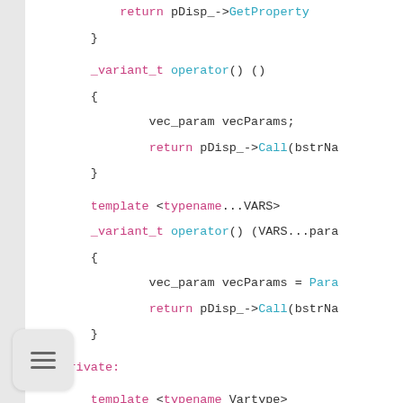[Figure (screenshot): Source code snippet in C++ showing operator() overloads and a private Param template function with syntax highlighting: keywords in pink, function/type names in cyan, plain code in dark.]